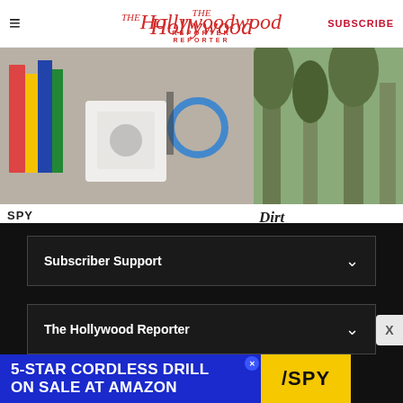The Hollywood Reporter | SUBSCRIBE
[Figure (photo): Article image showing a white device and books in background - spy product photo]
[Figure (photo): Article image showing trees - partially cropped on right]
SPY
I'm an Insomniac, But These 7 Foolproof Hacks Help Me Fall Asleep Faster
21 MINS AGO
Dirt
An Exqui­si­ Figures at Girl Doll's S
2 DAYS AGO
Subscriber Support
The Hollywood Reporter
[Figure (screenshot): Advertisement banner: 5-STAR CORDLESS DRILL ON SALE AT AMAZON with SPY logo on yellow background]